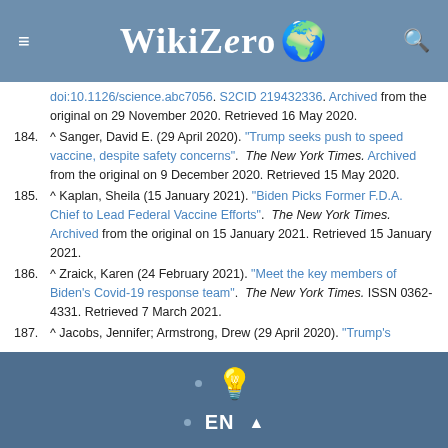WikiZero
doi:10.1126/science.abc7056. S2CID 219432336. Archived from the original on 29 November 2020. Retrieved 16 May 2020.
184. ^ Sanger, David E. (29 April 2020). "Trump seeks push to speed vaccine, despite safety concerns". The New York Times. Archived from the original on 9 December 2020. Retrieved 15 May 2020.
185. ^ Kaplan, Sheila (15 January 2021). "Biden Picks Former F.D.A. Chief to Lead Federal Vaccine Efforts". The New York Times. Archived from the original on 15 January 2021. Retrieved 15 January 2021.
186. ^ Zraick, Karen (24 February 2021). "Meet the key members of Biden's Covid-19 response team". The New York Times. ISSN 0362-4331. Retrieved 7 March 2021.
187. ^ Jacobs, Jennifer; Armstrong, Drew (29 April 2020). "Trump's
EN